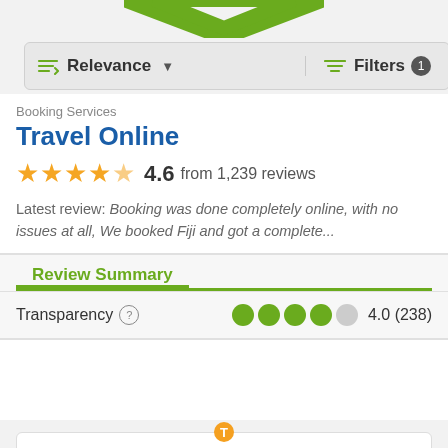[Figure (screenshot): Green decorative arrow/chevron logo at top of page, partially cropped]
Relevance ▾   Filters 1
Booking Services
Travel Online
★★★★★  4.6 from 1,239 reviews
Latest review: Booking was done completely online, with no issues at all, We booked Fiji and got a complete...
Review Summary
Transparency ⓘ   ●●●●○ 4.0 (238)
[Figure (logo): TravelChina Guide orange logo partially visible at bottom]
TravelChina Guide